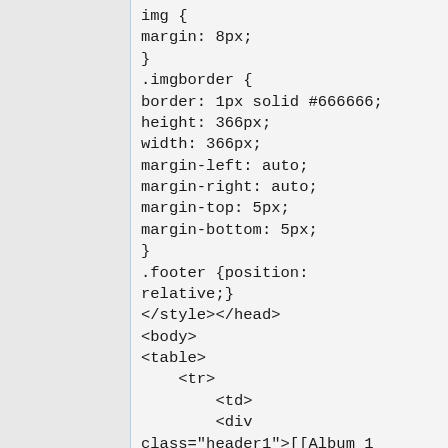img {
margin: 8px;
}
.imgborder {
border: 1px solid #666666;
height: 366px;
width: 366px;
margin-left: auto;
margin-right: auto;
margin-top: 5px;
margin-bottom: 5px;
}
.footer {position:
relative;}
</style></head>
<body>
<table>
    <tr>
        <td>
        <div class="header1">[[Album 1 Description:
OST/Single/OP/ED/etc]]<br>
        <div class="header2">[[Album 1